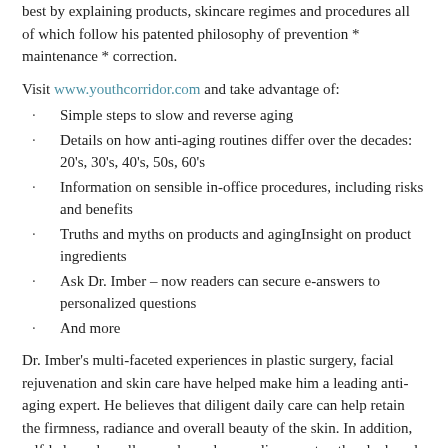best by explaining products, skincare regimes and procedures all of which follow his patented philosophy of prevention * maintenance * correction.
Visit www.youthcorridor.com and take advantage of:
Simple steps to slow and reverse aging
Details on how anti-aging routines differ over the decades: 20's, 30's, 40's, 50s, 60's
Information on sensible in-office procedures, including risks and benefits
Truths and myths on products and agingInsight on product ingredients
Ask Dr. Imber – now readers can secure e-answers to personalized questions
And more
Dr. Imber's multi-faceted experiences in plastic surgery, facial rejuvenation and skin care have helped make him a leading anti-aging expert. He believes that diligent daily care can help retain the firmness, radiance and overall beauty of the skin. In addition, self-help and small procedures done earlier can stop the clock and have proven successful for decades.